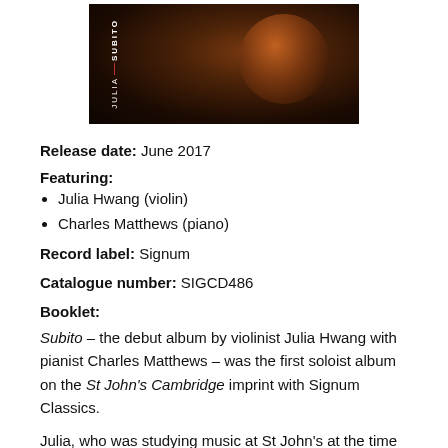[Figure (photo): Album cover for 'Subito' by Julia Hwang – dark background with a violin scroll detail, vertical text 'SUBITO | JULIA' on the left side with a red accent line]
Release date: June 2017
Featuring:
Julia Hwang (violin)
Charles Matthews (piano)
Record label: Signum
Catalogue number: SIGCD486
Booklet:
Subito – the debut album by violinist Julia Hwang with pianist Charles Matthews – was the first soloist album on the St John's Cambridge imprint with Signum Classics.
Julia, who was studying music at St John's at the time of